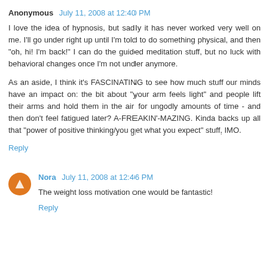Anonymous July 11, 2008 at 12:40 PM
I love the idea of hypnosis, but sadly it has never worked very well on me. I'll go under right up until I'm told to do something physical, and then "oh, hi! I'm back!" I can do the guided meditation stuff, but no luck with behavioral changes once I'm not under anymore.
As an aside, I think it's FASCINATING to see how much stuff our minds have an impact on: the bit about "your arm feels light" and people lift their arms and hold them in the air for ungodly amounts of time - and then don't feel fatigued later? A-FREAKIN'-MAZING. Kinda backs up all that "power of positive thinking/you get what you expect" stuff, IMO.
Reply
Nora July 11, 2008 at 12:46 PM
The weight loss motivation one would be fantastic!
Reply